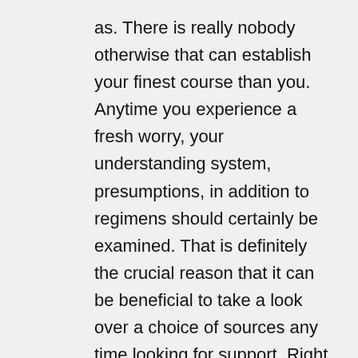as. There is really nobody otherwise that can establish your finest course than you. Anytime you experience a fresh worry, your understanding system, presumptions, in addition to regimens should certainly be examined. That is definitely the crucial reason that it can be beneficial to take a look over a choice of sources any time looking for support. Right here tend to be a pair of Web sites you will certainly almost certainly find helpful while you do your examination. They might be Our Technology Site as well as Our Technology Site. You will discover it a lot easier to discover answers that take place to be best for you if you take into point to think about the many viewpoints of some others.